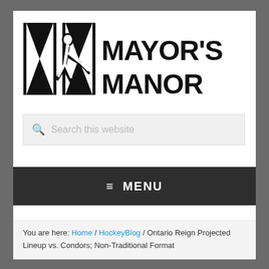[Figure (logo): Mayor's Manor logo with stylized MM letters and hockey player silhouette, with text MAYOR'S MANOR]
Search this website
≡  MENU
You are here: Home / HockeyBlog / Ontario Reign Projected Lineup vs. Condors; Non-Traditional Format